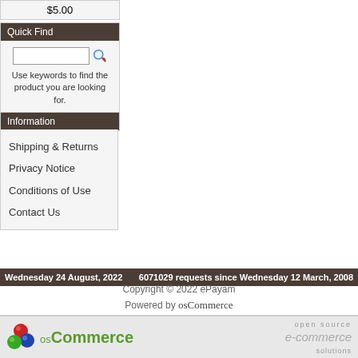$5.00
Quick Find
Use keywords to find the product you are looking for.
Advanced Search
Information
Shipping & Returns
Privacy Notice
Conditions of Use
Contact Us
Wednesday 24 August, 2022    6071029 requests since Wednesday 12 March, 2008
Copyright © 2022 ePayam
Powered by osCommerce
[Figure (logo): osCommerce open source e-commerce solutions banner with colored spheres logo]